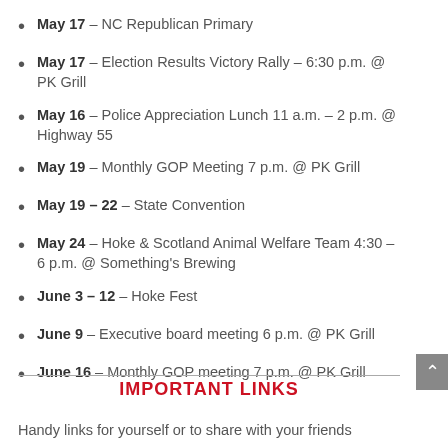May 17 – NC Republican Primary
May 17 – Election Results Victory Rally – 6:30 p.m. @ PK Grill
May 16 – Police Appreciation Lunch 11 a.m. – 2 p.m. @ Highway 55
May 19 – Monthly GOP Meeting 7 p.m. @ PK Grill
May 19 – 22 – State Convention
May 24 – Hoke & Scotland Animal Welfare Team 4:30 – 6 p.m. @ Something's Brewing
June 3 – 12 – Hoke Fest
June 9 – Executive board meeting 6 p.m. @ PK Grill
June 16 – Monthly GOP meeting 7 p.m. @ PK Grill
IMPORTANT LINKS
Handy links for yourself or to share with your friends